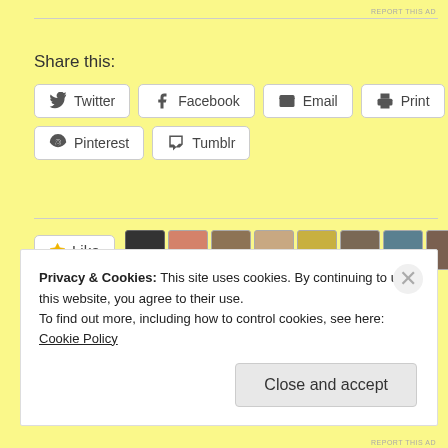Share this:
Twitter  Facebook  Email  Print  Pinterest  Tumblr
Like
15 bloggers like this.
Privacy & Cookies: This site uses cookies. By continuing to use this website, you agree to their use.
To find out more, including how to control cookies, see here:
Cookie Policy
Close and accept